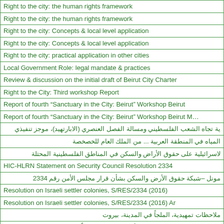| Right to the city: the human rights framework |
| Right to the city: the human rights framework |
| Right to the city: Concepts & local level application |
| Right to the city: Concepts & local level application |
| Right to the city: practical application in other cities |
| Local Government Role: legal mandate & practices |
| Review & discussion on the initial draft of Beirut City Charter |
| Right to the City: Third workshop Report |
| Report of fourth “Sanctuary in the City: Beirut” Workshop Beirut |
| Report of fourth “Sanctuary in the City: Beirut” Workshop Beirut M… |
| ية تجاه الشعب الفلسطيني ومسالة الفصل العنصري (الابارتهيد)، موجز تنفيذي |
| المياه في المنطقة العربية ... من الملك العام للخصخصة |
| لاسرائيلية على حقوق الأراض والسكن في المناطق الفلسطينية المحتلة |
| HIC-HLRN Statement on Security Council Resolution 2334 |
| مونل –شبكة حقوق الأرض والسكن بشأن قرار مجلس الأمن رقم 2334 |
| Resolution on Israeli settler colonies, S/RES/2334 (2016) |
| Resolution on Israeli settler colonies, S/RES/2334 (2016) Ar |
| ملاحظات تمهيدية، الملجاٌ في المدينة، بيروت |
| ة والمجتمعات المستضيفة تجاه أزمة اللاجئين، الملجاٌ في المدينة، بيروت |
| The Right to the City: Concepts & Principles of Human rights (Ara… |
| The Right to the City: History & Experiences (Arabic) |
| The Role of Municipalities and Local Practices (Arabic) |
| دور المجتمع المدني وتطبيق الميثاق في لبنان |